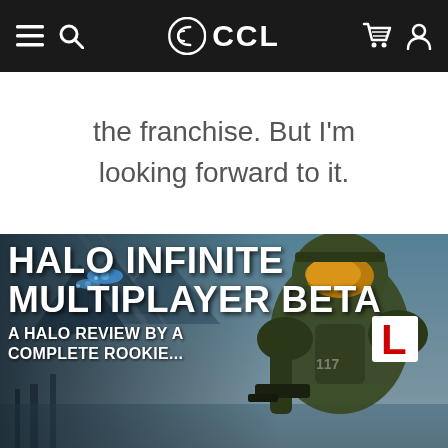CCL (navigation bar with menu, search, cart, and account icons)
the franchise. But I'm looking forward to it.
[Figure (illustration): Promotional banner for 'Halo Infinite Multiplayer Beta – A Halo Review by a Complete Rookie...' featuring Master Chief (Spartan-117) in green armor with a golden visor, holding a weapon, set against a blue sci-fi landscape with alien structures and light beams. An L-plate (learner driver plate) is overlaid on the character's shoulder.]